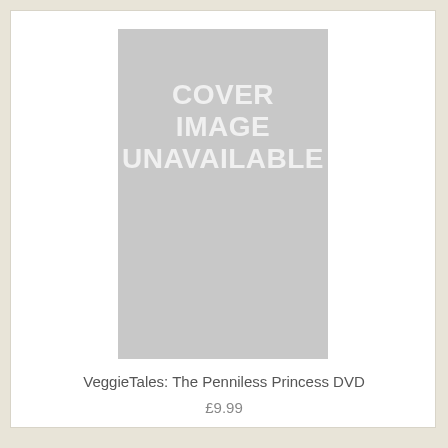[Figure (other): Placeholder cover image with light gray background and white bold text reading 'COVER IMAGE UNAVAILABLE']
VeggieTales: The Penniless Princess DVD
£9.99